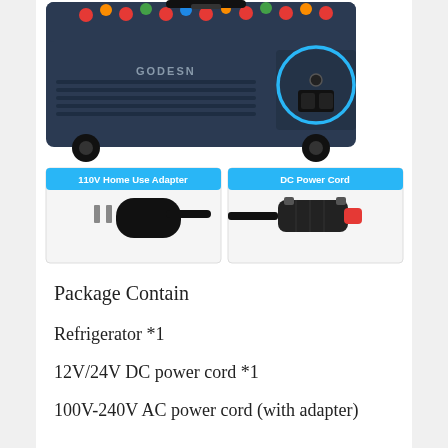[Figure (photo): Product photo of a GODESN portable car refrigerator/cooler with wheels, showing the power port connection area circled in blue. Below the cooler are two sub-images: left labeled '110V Home Use Adapter' showing a standard AC power plug, and right labeled 'DC Power Cord' showing a 12V car cigarette lighter plug.]
Package Contain
Refrigerator *1
12V/24V DC power cord *1
100V-240V AC power cord (with adapter)